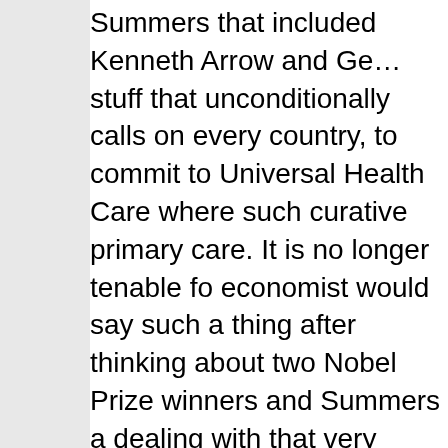Summers that included Kenneth Arrow and Ge… stuff that unconditionally calls on every country, to commit to Universal Health Care where such curative primary care. It is no longer tenable for economist would say such a thing after thinking about two Nobel Prize winners and Summers a dealing with that very topic. So, the argument h think this through for themselves.
My argument can be boiled down into two parts is "public policy – using the very scarce resourc - should first address those problems where ma welfare losses. These losses include those resu income or well-being that a free market could p public economics (actually introductory) textbo quote Keynes: "The important thing for governm individuals are doing already, and to do them a those things which at present are not done at a"